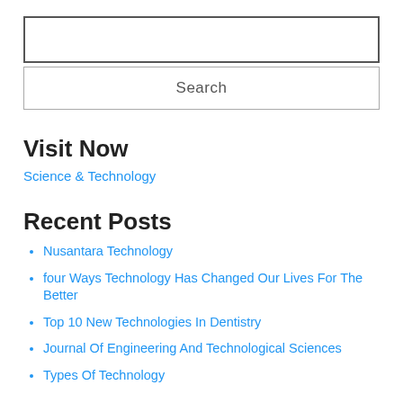[Figure (screenshot): Search input box (empty text field with dark border)]
[Figure (screenshot): Search button with label 'Search']
Visit Now
Science & Technology
Recent Posts
Nusantara Technology
four Ways Technology Has Changed Our Lives For The Better
Top 10 New Technologies In Dentistry
Journal Of Engineering And Technological Sciences
Types Of Technology